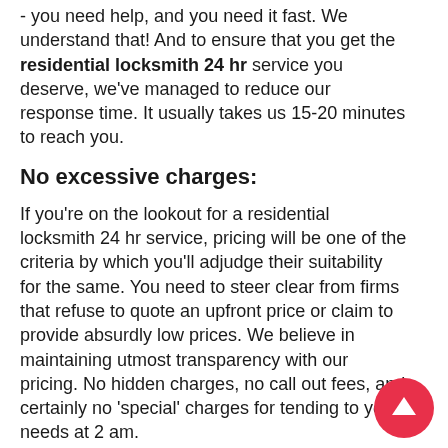- you need help, and you need it fast. We understand that! And to ensure that you get the residential locksmith 24 hr service you deserve, we've managed to reduce our response time. It usually takes us 15-20 minutes to reach you.
No excessive charges:
If you're on the lookout for a residential locksmith 24 hr service, pricing will be one of the criteria by which you'll adjudge their suitability for the same. You need to steer clear from firms that refuse to quote an upfront price or claim to provide absurdly low prices. We believe in maintaining utmost transparency with our pricing. No hidden charges, no call out fees, and certainly no 'special' charges for tending to your needs at 2 am.
Save our number for emergencies: 562-567-6819 – you never know when you might need it!